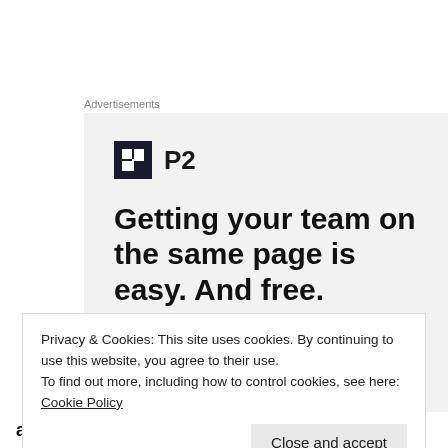Advertisements
[Figure (screenshot): Advertisement banner for P2. Shows P2 logo (dark square icon with grid symbol and text 'P2'), headline text 'Getting your team on the same page is easy. And free.' on a light gray background, with circular avatar images at the bottom.]
Privacy & Cookies: This site uses cookies. By continuing to use this website, you agree to their use.
To find out more, including how to control cookies, see here:
Cookie Policy
and tying for the tournament lead in shots